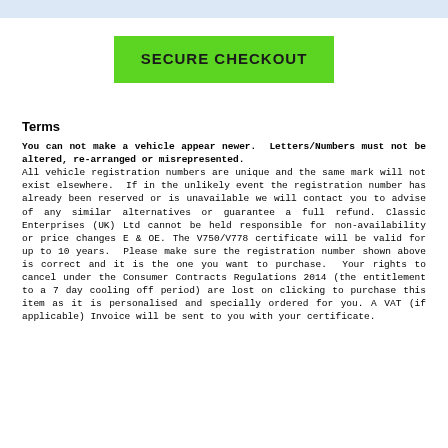[Figure (other): Green SECURE CHECKOUT button]
Terms
You can not make a vehicle appear newer. Letters/Numbers must not be altered, re-arranged or misrepresented. All vehicle registration numbers are unique and the same mark will not exist elsewhere. If in the unlikely event the registration number has already been reserved or is unavailable we will contact you to advise of any similar alternatives or guarantee a full refund. Classic Enterprises (UK) Ltd cannot be held responsible for non-availability or price changes E & OE. The V750/V778 certificate will be valid for up to 10 years. Please make sure the registration number shown above is correct and it is the one you want to purchase. Your rights to cancel under the Consumer Contracts Regulations 2014 (the entitlement to a 7 day cooling off period) are lost on clicking to purchase this item as it is personalised and specially ordered for you. A VAT (if applicable) Invoice will be sent to you with your certificate.